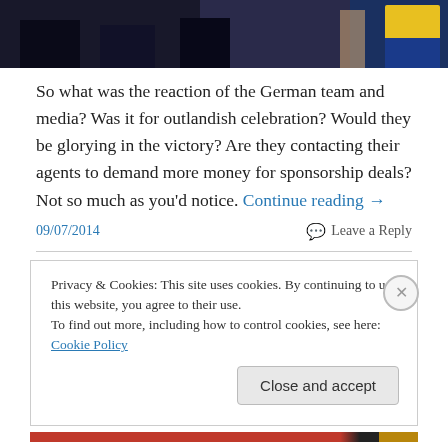[Figure (photo): Cropped photo showing people in dark clothing and a person in yellow/blue sportswear (Brazilian football kit)]
So what was the reaction of the German team and media? Was it for outlandish celebration? Would they be glorying in the victory? Are they contacting their agents to demand more money for sponsorship deals? Not so much as you'd notice. Continue reading →
09/07/2014
Leave a Reply
Privacy & Cookies: This site uses cookies. By continuing to use this website, you agree to their use.
To find out more, including how to control cookies, see here: Cookie Policy
Close and accept